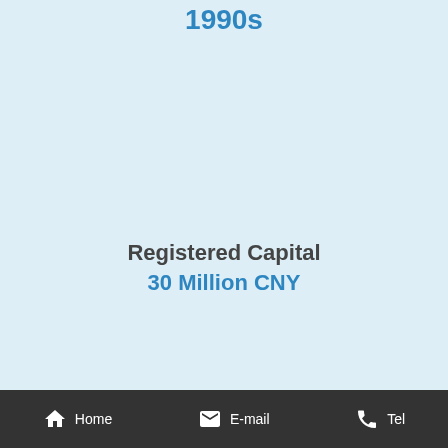1990s
Registered Capital
30 Million CNY
Home  E-mail  Tel